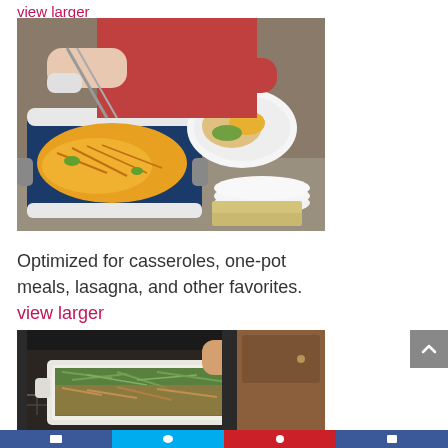view larger
[Figure (photo): Woman serving food from a blue slow cooker/casserole dish onto a white plate, with cheese-topped casserole visible, kitchen countertop setting]
Optimized for casseroles, one-pot meals, lasagna, and other favorites. view larger
[Figure (photo): Person placing a rectangular casserole dish with green bean casserole into an oven]
Social sharing bar with Facebook, Twitter, Pinterest, and another social icon